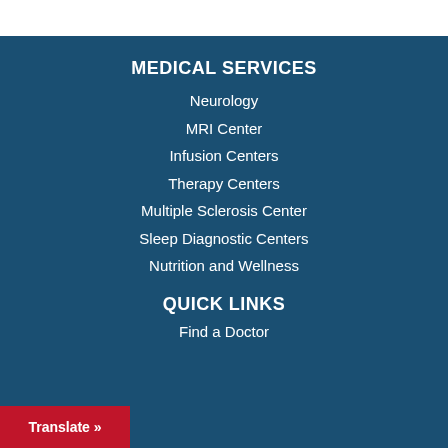MEDICAL SERVICES
Neurology
MRI Center
Infusion Centers
Therapy Centers
Multiple Sclerosis Center
Sleep Diagnostic Centers
Nutrition and Wellness
QUICK LINKS
Find a Doctor
Translate »